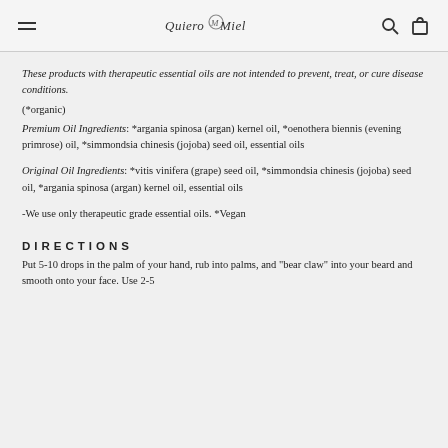Quiero Miel (logo) — navigation with menu, search, cart icons
These products with therapeutic essential oils are not intended to prevent, treat, or cure disease conditions.
(*organic)
Premium Oil Ingredients: *argania spinosa (argan) kernel oil, *oenothera biennis (evening primrose) oil, *simmondsia chinesis (jojoba) seed oil, essential oils
Original Oil Ingredients: *vitis vinifera (grape) seed oil, *simmondsia chinesis (jojoba) seed oil, *argania spinosa (argan) kernel oil, essential oils
-We use only therapeutic grade essential oils. *Vegan
DIRECTIONS
Put 5-10 drops in the palm of your hand, rub into palms, and "bear claw" into your beard and  smooth onto your face. Use 2-5 drops per face clean and moisturize and in machine. Thi